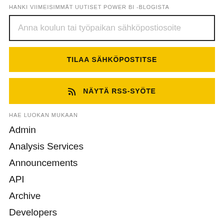HANKI VIIMEISIMMÄT UUTISET POWER BI -BLOGISTA
Anna koulun tai työpaikan sähköpostiosoite
TILAA SÄHKÖPOSTITSE
NÄYTÄ RSS-SYÖTE
HAE LUOKAN MUKAAN
Admin
Analysis Services
Announcements
API
Archive
Developers